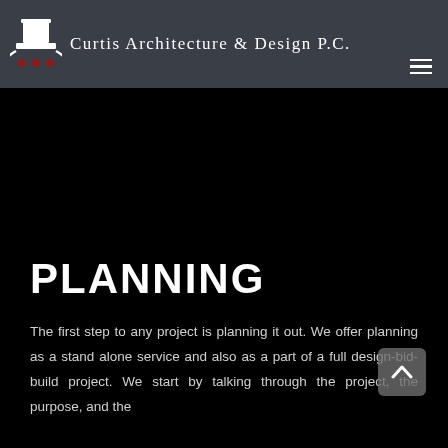Curtis Architecture & Design P.C.
PLANNING
The first step to any project is planning it out. We offer planning as a stand alone service and also as a part of a full design-bid-build project. We start by talking through the project, the purpose, and the